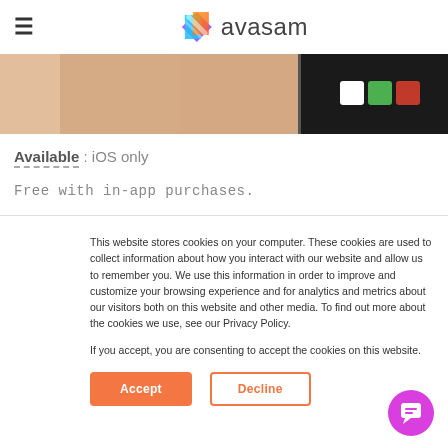avasam
[Figure (screenshot): Partial product image strip with blurred peach/beige background on left and dark/black panel with white, green, and red color swatches on right]
Available : iOS only
Free with in-app purchases.
This website stores cookies on your computer. These cookies are used to collect information about how you interact with our website and allow us to remember you. We use this information in order to improve and customize your browsing experience and for analytics and metrics about our visitors both on this website and other media. To find out more about the cookies we use, see our Privacy Policy.

If you accept, you are consenting to accept the cookies on this website.